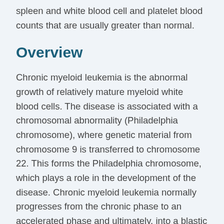spleen and white blood cell and platelet blood counts that are usually greater than normal.
Overview
Chronic myeloid leukemia is the abnormal growth of relatively mature myeloid white blood cells. The disease is associated with a chromosomal abnormality (Philadelphia chromosome), where genetic material from chromosome 9 is transferred to chromosome 22. This forms the Philadelphia chromosome, which plays a role in the development of the disease. Chronic myeloid leukemia normally progresses from the chronic phase to an accelerated phase and ultimately, into a blastic or acute leukemia phase over a period of several years.